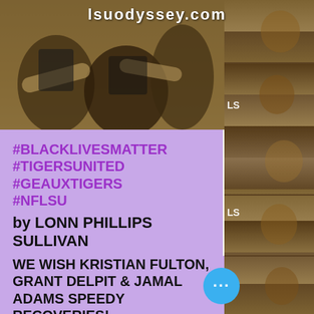[Figure (photo): Photo of LSU football players/fans at top with lsuodyssey.com watermark text, and a column of sports photos on the right side]
#BLACKLIVESMATTER
#TIGERSUNITED
#GEAUXTIGERS
#NFLSU
by LONN PHILLIPS SULLIVAN
Copyright 2020 Uninterrupted Writings Inc LLC
WE WISH KRISTIAN FULTON, GRANT DELPIT & JAMAL ADAMS SPEEDY RECOVERIES!